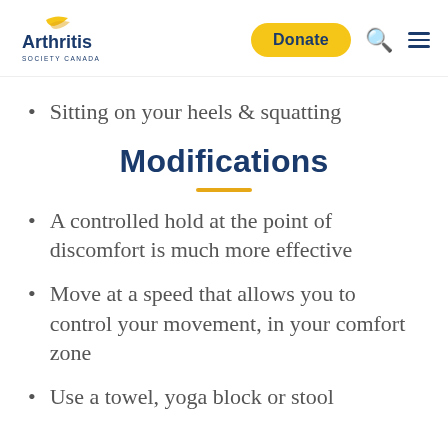[Figure (logo): Arthritis Society Canada logo — yellow arc/swash above blue text 'Arthritis' and smaller text 'SOCIETY CANADA']
Sitting on your heels & squatting
Modifications
A controlled hold at the point of discomfort is much more effective
Move at a speed that allows you to control your movement, in your comfort zone
Use a towel, yoga block or stool